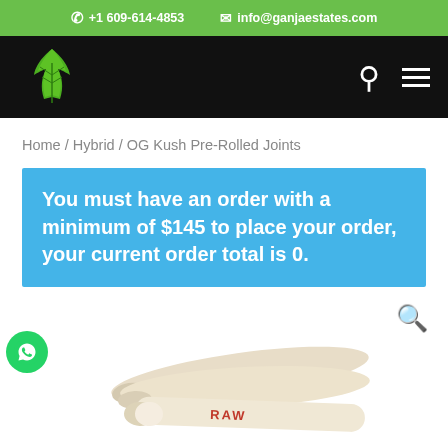+1 609-614-4853  info@ganjaestates.com
[Figure (logo): Cannabis leaf logo in green on black navigation bar with search and hamburger menu icons]
Home / Hybrid / OG Kush Pre-Rolled Joints
You must have an order with a minimum of $145 to place your order, your current order total is 0.
[Figure (photo): Pre-rolled joints (RAW brand) photographed from above on white background]